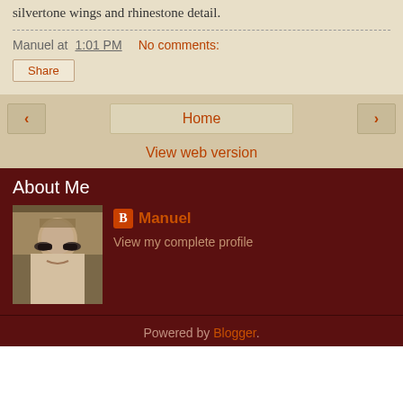silvertone wings and rhinestone detail.
Manuel at 1:01 PM    No comments:
Share
‹   Home   ›
View web version
About Me
[Figure (photo): Profile photo of Manuel, a man wearing sunglasses, smiling outdoors]
Manuel
View my complete profile
Powered by Blogger.